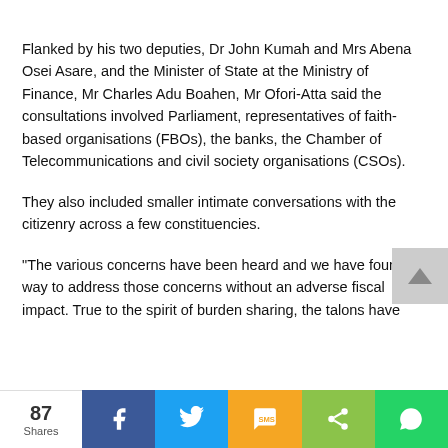Flanked by his two deputies, Dr John Kumah and Mrs Abena Osei Asare, and the Minister of State at the Ministry of Finance, Mr Charles Adu Boahen, Mr Ofori-Atta said the consultations involved Parliament, representatives of faith-based organisations (FBOs), the banks, the Chamber of Telecommunications and civil society organisations (CSOs).
They also included smaller intimate conversations with the citizenry across a few constituencies.
“The various concerns have been heard and we have found a way to address those concerns without an adverse fiscal impact. True to the spirit of burden sharing, the talons have
87 Shares